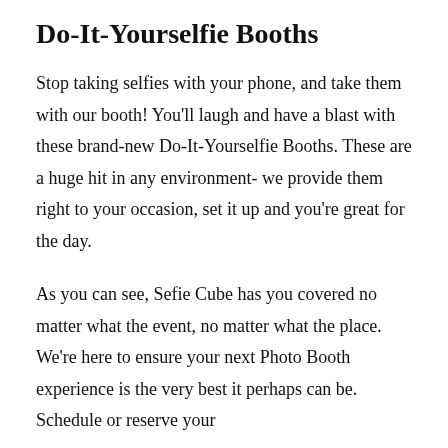Do-It-Yourselfie Booths
Stop taking selfies with your phone, and take them with our booth! You'll laugh and have a blast with these brand-new Do-It-Yourselfie Booths. These are a huge hit in any environment- we provide them right to your occasion, set it up and you're great for the day.
As you can see, Sefie Cube has you covered no matter what the event, no matter what the place. We're here to ensure your next Photo Booth experience is the very best it perhaps can be. Schedule or reserve your